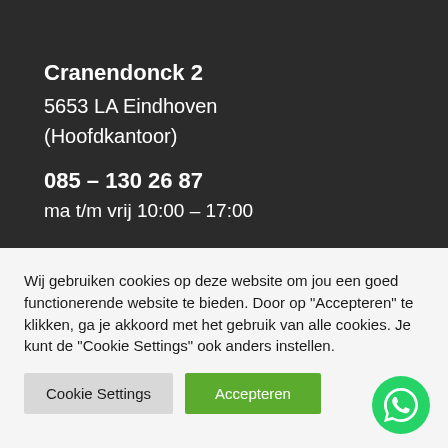Cranendonck 2
5653 LA Eindhoven
(Hoofdkantoor)
085 – 130 26 87
ma t/m vrij 10:00 – 17:00
Wij gebruiken cookies op deze website om jou een goed functionerende website te bieden. Door op "Accepteren" te klikken, ga je akkoord met het gebruik van alle cookies. Je kunt de "Cookie Settings" ook anders instellen.
Cookie Settings
Accepteren